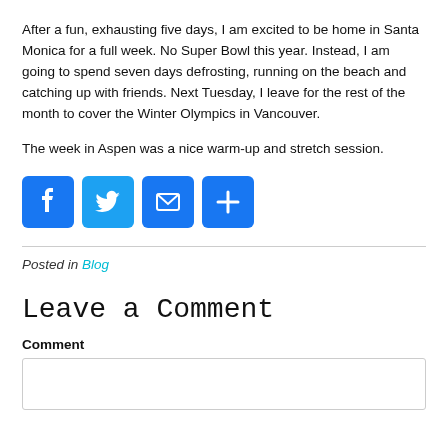After a fun, exhausting five days, I am excited to be home in Santa Monica for a full week. No Super Bowl this year. Instead, I am going to spend seven days defrosting, running on the beach and catching up with friends. Next Tuesday, I leave for the rest of the month to cover the Winter Olympics in Vancouver.
The week in Aspen was a nice warm-up and stretch session.
[Figure (infographic): Four social share buttons: Facebook (blue, f icon), Twitter (light blue, bird icon), Email (blue, envelope icon), More/Plus (blue, + icon)]
Posted in Blog
Leave a Comment
Comment